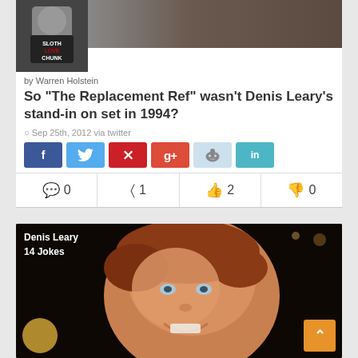[Figure (photo): Top photo strip with small avatar (man in Sloth Love Chunk t-shirt) and wide header photo of a man at an event]
by Warren Holstein
So "The Replacement Ref" wasn't Denis Leary's stand-in on set in 1994?
Sep 25th, 2012 via twitter
[Figure (infographic): Social share buttons: Facebook, Twitter, Pinterest, Google+, Reddit, LinkedIn]
0 comments  1 share  2 likes  0 dislikes
[Figure (photo): Denis Leary - 14 Jokes. Close-up photo of Denis Leary smiling with reddish-brown hair against dark background with stage lights]